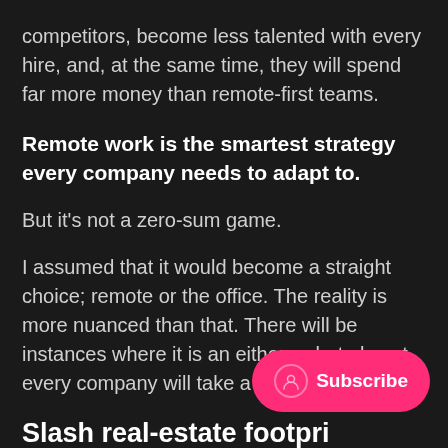competitors, become less talented with every hire, and, at the same time, they will spend far more money than remote-first teams.
Remote work is the smartest strategy every company needs to adapt to.
But it's not a zero-sum game.
I assumed that it would become a straight choice; remote or the office. The reality is more nuanced than that. There will be instances where it is an either-or but almost every company will take a blended approach.
Slash real-estate footpri…
Most companies will reduce their office footprint by 30-